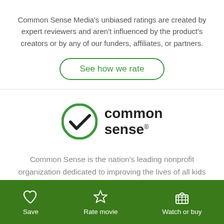Common Sense Media's unbiased ratings are created by expert reviewers and aren't influenced by the product's creators or by any of our funders, affiliates, or partners.
See how we rate
[Figure (logo): Common Sense logo: green circle with white checkmark and 'common sense' text with registered trademark symbol]
Common Sense is the nation's leading nonprofit organization dedicated to improving the lives of all kids and families by providing the trustworthy information, education, and independent voice they need to thrive in the
Save   Rate movie   Watch or buy